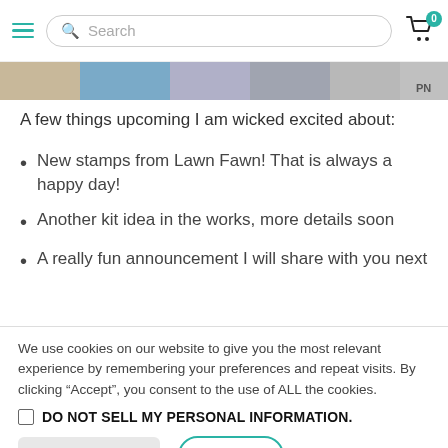Search | Cart (0)
[Figure (photo): Horizontal strip of partial craft/stamp images]
A few things upcoming I am wicked excited about:
New stamps from Lawn Fawn! That is always a happy day!
Another kit idea in the works, more details soon
A really fun announcement I will share with you next
We use cookies on our website to give you the most relevant experience by remembering your preferences and repeat visits. By clicking “Accept”, you consent to the use of ALL the cookies.
DO NOT SELL MY PERSONAL INFORMATION.
Cookie Settings | Accept